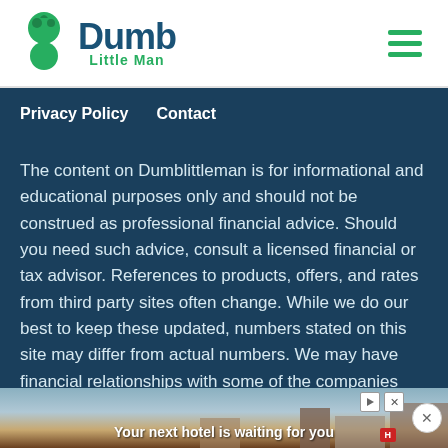[Figure (logo): Dumb Little Man logo with green puzzle-piece head icon and dark blue 'Dumb' text with green 'Little Man' subtitle]
Privacy Policy   Contact
The content on Dumblittleman is for informational and educational purposes only and should not be construed as professional financial advice. Should you need such advice, consult a licensed financial or tax advisor. References to products, offers, and rates from third party sites often change. While we do our best to keep these updated, numbers stated on this site may differ from actual numbers. We may have financial relationships with some of the companies mentioned on this site. We may
[Figure (screenshot): Advertisement banner: 'Your next hotel is waiting for you' with hotel/landscape image]